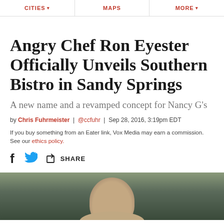CITIES ▾ | MAPS | MORE ▾
Angry Chef Ron Eyester Officially Unveils Southern Bistro in Sandy Springs
A new name and a revamped concept for Nancy G's
by Chris Fuhrmeister | @ccfuhr | Sep 28, 2016, 3:19pm EDT
If you buy something from an Eater link, Vox Media may earn a commission. See our ethics policy.
[Figure (photo): Close-up photograph of a person (chef Ron Eyester) from the shoulders up, with a rustic/industrial background]